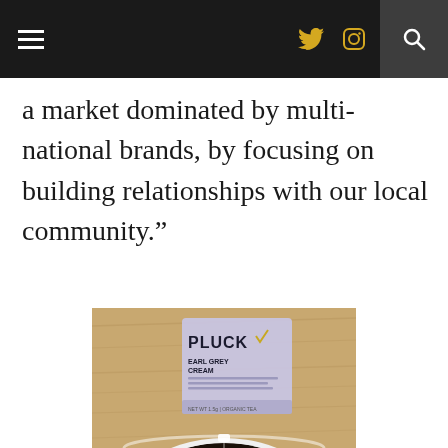Navigation bar with hamburger menu, Twitter and Instagram icons, and search button
a market dominated by multi-national brands, by focusing on building relationships with our local community.”
[Figure (photo): A Pluck Earl Grey Cream tea packet resting on a wooden surface next to a white bowl filled with loose black tea leaves and transparent pyramid tea bags.]